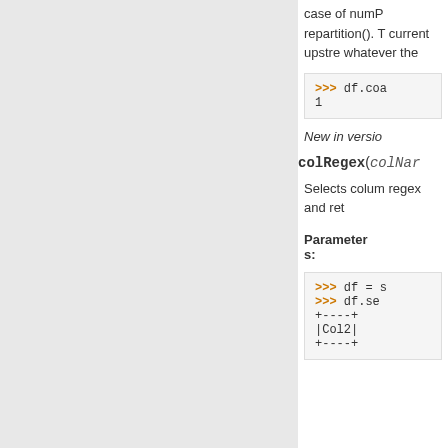case of numP repartition(). The current upstream whatever the
[Figure (screenshot): Code block showing: >>> df.coa
1]
New in versio
colRegex(colNar
Selects colum regex and ret
Parameters:
[Figure (screenshot): Code block showing: >>> df = s
>>> df.se
+----+
|Col2|
+----+]